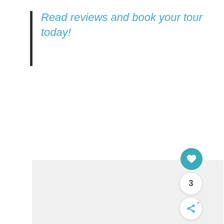Read reviews and book your tour today!
[Figure (photo): Light gray placeholder image area with faint dot navigation indicators at the bottom center. A teal heart/favorite button, a count badge showing '3', and a share button are overlaid on the bottom right.]